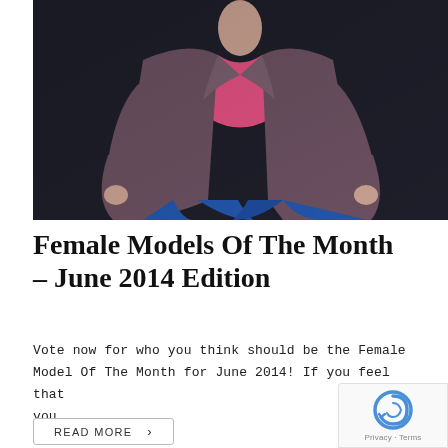[Figure (photo): A woman wearing a brown/grey open-front coat with a pink top visible underneath, posed against a dark background. Her lower body shows blue jeans. The image is cropped at the torso/upper body.]
Female Models Of The Month – June 2014 Edition
Vote now for who you think should be the Female Model Of The Month for June 2014! If you feel that you...
READ MORE >